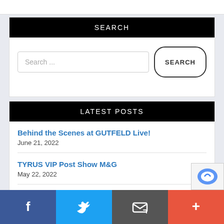[Figure (screenshot): Partial top bar with white background showing cropped image]
SEARCH
Search ...
LATEST POSTS
Behind the Scenes at GUTFELD Live! — June 21, 2022
TYRUS VIP Post Show M&G — May 22, 2022
2022 Shows Announced!